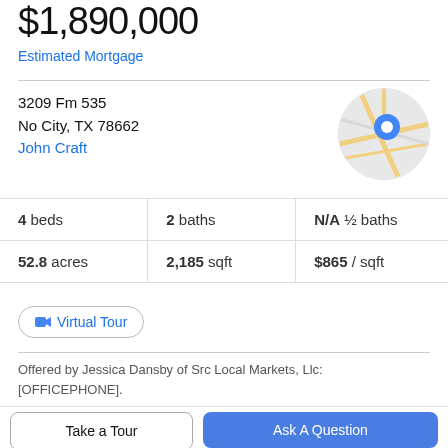$1,890,000
Estimated Mortgage
3209 Fm 535
No City, TX 78662
John Craft
[Figure (map): Circular map thumbnail with a blue location pin marker and yellow road lines on grey background]
| 4 beds | 2 baths | N/A ½ baths |
| 52.8 acres | 2,185 sqft | $865 / sqft |
Virtual Tour
Offered by Jessica Dansby of Src Local Markets, Llc: [OFFICEPHONE].
Take a Tour
Ask A Question